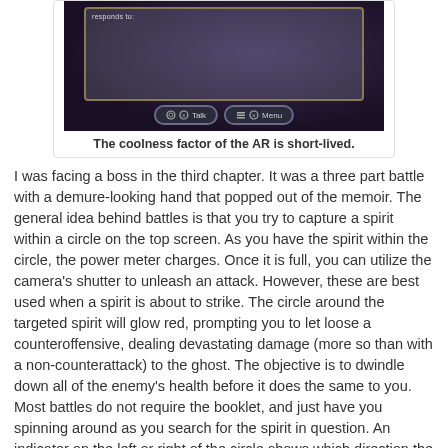[Figure (screenshot): Game screenshot showing a dialog box with 'responds to:' text and two buttons: 'Talk' and 'Menu', on a dark purple fantasy game background.]
The coolness factor of the AR is short-lived.
I was facing a boss in the third chapter. It was a three part battle with a demure-looking hand that popped out of the memoir. The general idea behind battles is that you try to capture a spirit within a circle on the top screen. As you have the spirit within the circle, the power meter charges. Once it is full, you can utilize the camera's shutter to unleash an attack. However, these are best used when a spirit is about to strike. The circle around the targeted spirit will glow red, prompting you to let loose a counteroffensive, dealing devastating damage (more so than with a non-counterattack) to the ghost. The objective is to dwindle down all of the enemy's health before it does the same to you. Most battles do not require the booklet, and just have you spinning around as you search for the spirit in question. An indicator on the left or right of the circle shows which direction the